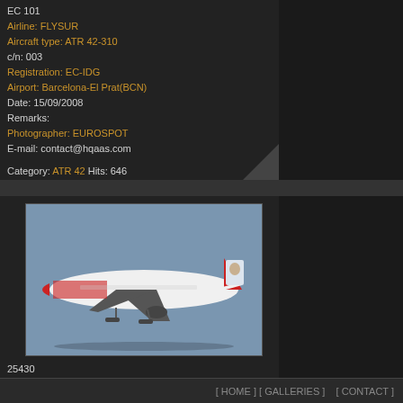EC 101
Airline: FLYSUR
Aircraft type: ATR 42-310
c/n: 003
Registration: EC-IDG
Airport: Barcelona-El Prat(BCN)
Date: 15/09/2008
Remarks:
Photographer: EUROSPOT
E-mail: contact@hqaas.com

Category: ATR 42 Hits: 646
[Figure (photo): Norwegian Air Shuttle Boeing 737 aircraft photographed in flight against blue-grey sky, featuring red nose and tail livery with a portrait on the tail fin.]
25430
[ HOME ] [ GALLERIES ]    [ CONTACT ]